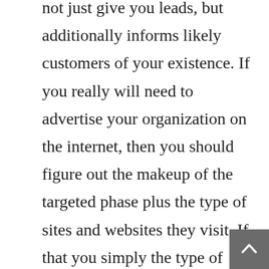not just give you leads, but additionally informs likely customers of your existence. If you really will need to advertise your organization on the internet, then you should figure out the makeup of the targeted phase plus the type of sites and websites they visit. If that you simply the type of business which in turn must expand a lot more than 10k supporters quickly, you don't have to purchase counterfeit ones. Every business should certainly discover the most convenient, less pricey, and rapid approach to obtain their very own customers. In the event you own a business, odds are that you have used in some type of marketing. Still, a minimal